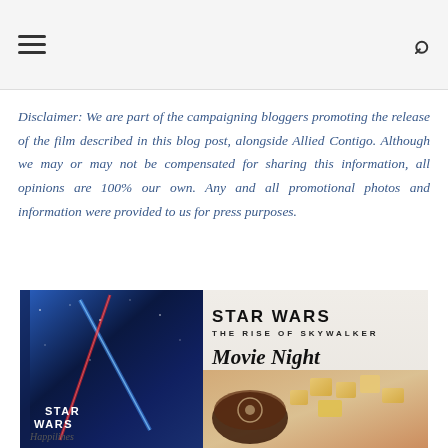Navigation header with hamburger menu and search icon
Disclaimer: We are part of the campaigning bloggers promoting the release of the film described in this blog post, alongside Allied Contigo. Although we may or may not be compensated for sharing this information, all opinions are 100% our own. Any and all promotional photos and information were provided to us for press purposes.
[Figure (photo): Star Wars: The Rise of Skywalker Movie Night promotional image showing the Blu-ray DVD case alongside a chocolate dessert with a Rebel Alliance symbol and cheese cubes on a wooden board, with the text 'STAR WARS THE RISE OF SKYWALKER Movie Night' overlaid on the right side.]